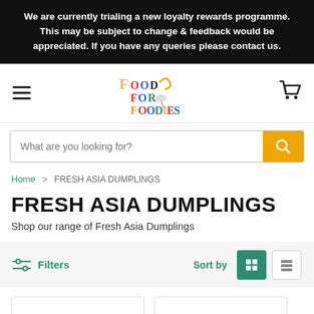We are currently trialing a new loyalty rewards programme. This may be subject to change & feedback would be appreciated. If you have any queries please contact us.
[Figure (logo): Food For Foodies logo with colorful stylized lettering]
What are you looking for?
Home > FRESH ASIA DUMPLINGS
FRESH ASIA DUMPLINGS
Shop our range of Fresh Asia Dumplings
Filters  Sort by